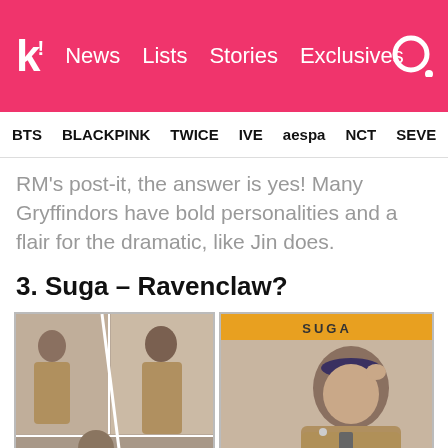k! News Lists Stories Exclusives
BTS BLACKPINK TWICE IVE aespa NCT SEVE
RM's post-it, the answer is yes! Many Gryffindors have bold personalities and a flair for the dramatic, like Jin does.
3. Suga – Ravenclaw?
[Figure (photo): Left: collage of BTS members in school uniforms (blazers and ties). Right: close-up photo of Suga in school uniform with SUGA label in yellow bar at top.]